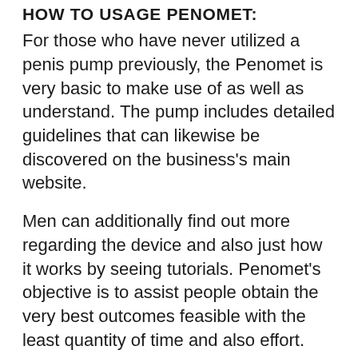HOW TO USAGE PENOMET:
For those who have never utilized a penis pump previously, the Penomet is very basic to make use of as well as understand. The pump includes detailed guidelines that can likewise be discovered on the business's main website.
Men can additionally find out more regarding the device and also just how it works by seeing tutorials. Penomet's objective is to assist people obtain the very best outcomes feasible with the least quantity of time and also effort.
The most effective means to make use of the pump is to follow the steps below:.